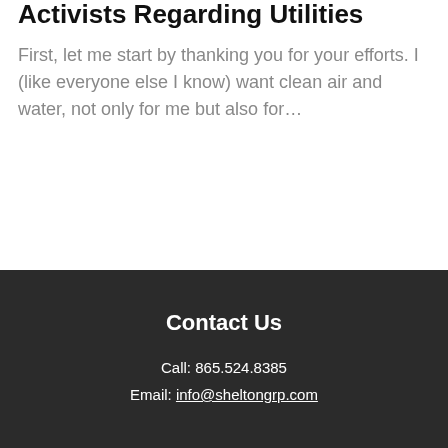Activists Regarding Utilities
First, let me start by thanking you for your efforts. I (like everyone else I know) want clean air and water, not only for me but also for…
Contact Us
Call: 865.524.8385
Email: info@sheltongrp.com